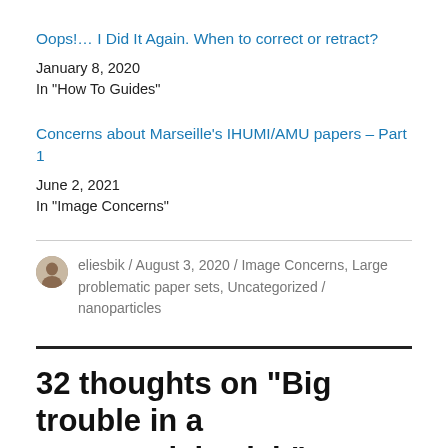Oops!... I Did It Again. When to correct or retract?
January 8, 2020
In "How To Guides"
Concerns about Marseille's IHUMI/AMU papers – Part 1
June 2, 2021
In "Image Concerns"
eliesbik / August 3, 2020 / Image Concerns, Large problematic paper sets, Uncategorized / nanoparticles
32 thoughts on “Big trouble in a nanoparticles lab”